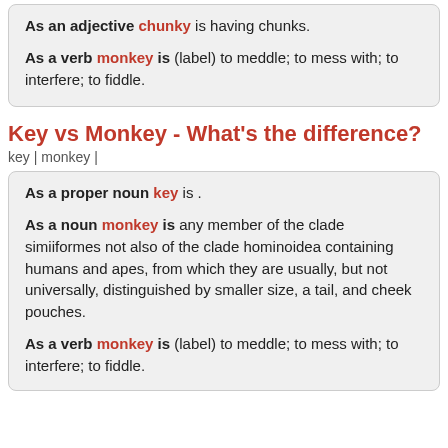As an adjective chunky is having chunks.
As a verb monkey is (label) to meddle; to mess with; to interfere; to fiddle.
Key vs Monkey - What's the difference?
key | monkey |
As a proper noun key is .
As a noun monkey is any member of the clade simiiformes not also of the clade hominoidea containing humans and apes, from which they are usually, but not universally, distinguished by smaller size, a tail, and cheek pouches.
As a verb monkey is (label) to meddle; to mess with; to interfere; to fiddle.